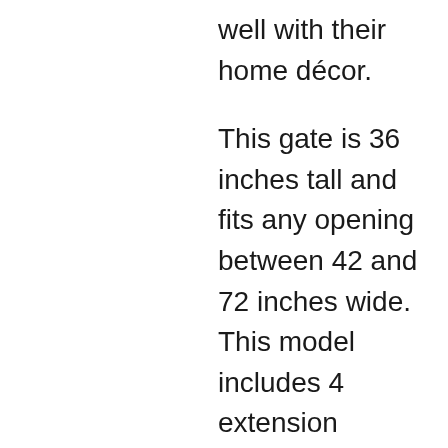well with their home décor.
This gate is 36 inches tall and fits any opening between 42 and 72 inches wide. This model includes 4 extension pieces, so it can be used as a barrier in any space, small or large.
The Summer Infant has a bronze finish and an arched walk-through opening, which give it an eye-catching design. As a result, you